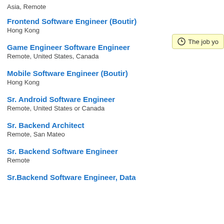Asia, Remote
Frontend Software Engineer (Boutir)
Hong Kong
Game Engineer Software Engineer
Remote, United States, Canada
Mobile Software Engineer (Boutir)
Hong Kong
Sr. Android Software Engineer
Remote, United States or Canada
Sr. Backend Architect
Remote, San Mateo
Sr. Backend Software Engineer
Remote
Sr.Backend Software Engineer, Data